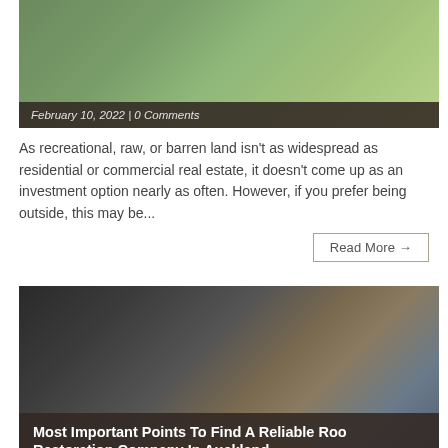[Figure (photo): Outdoor landscape with greenery and flowers, partially visible at top of page]
February 10, 2022 | 0 Comments
As recreational, raw, or barren land isn't as widespread as residential or commercial real estate, it doesn't come up as an investment option nearly as often. However, if you prefer being outside, this may be...
Read More →
[Figure (photo): Worker installing metal roof on a building, dark metal panels visible with a chimney in background]
Most Important Points To Find A Reliable Roof Restoration Company In Auckland
February 9, 2022 | 0 Comments
The number of houses, which are built with a metal roof, is increasing. The problem is that lightning can